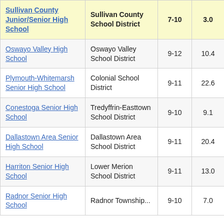| School | District | Grades | Value1 | Value2 |
| --- | --- | --- | --- | --- |
| Sullivan County Junior/Senior High School | Sullivan County School District | 7-10 | 3.0 | 4 |
| Oswayo Valley High School | Oswayo Valley School District | 9-12 | 10.4 | 5 |
| Plymouth-Whitemarsh Senior High School | Colonial School District | 9-11 | 22.6 |  |
| Conestoga Senior High School | Tredyffrin-Easttown School District | 9-10 | 9.1 |  |
| Dallastown Area Senior High School | Dallastown Area School District | 9-11 | 20.4 |  |
| Harriton Senior High School | Lower Merion School District | 9-11 | 13.0 |  |
| Radnor Senior High School | Radnor Township... | 9-10 | 7.0 |  |